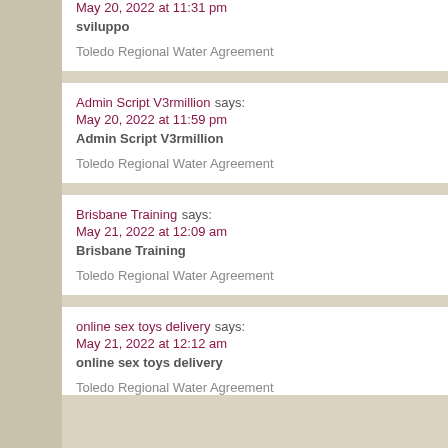May 20, 2022 at 11:31 pm
sviluppo

Toledo Regional Water Agreement
Admin Script V3rmillion says:
May 20, 2022 at 11:59 pm
Admin Script V3rmillion

Toledo Regional Water Agreement
Brisbane Training says:
May 21, 2022 at 12:09 am
Brisbane Training

Toledo Regional Water Agreement
online sex toys delivery says:
May 21, 2022 at 12:12 am
online sex toys delivery

Toledo Regional Water Agreement